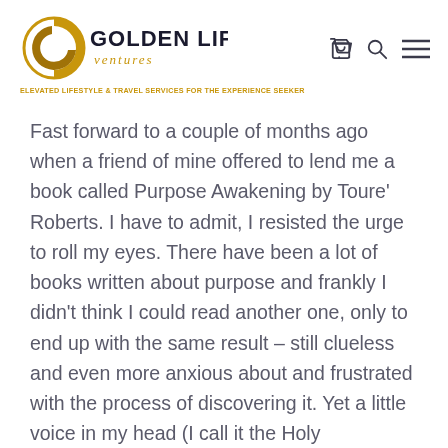[Figure (logo): Golden Life Ventures logo with stylized G and airplane icon, gold and dark text, tagline: ELEVATED LIFESTYLE & TRAVEL SERVICES FOR THE EXPERIENCE SEEKER]
Fast forward to a couple of months ago when a friend of mine offered to lend me a book called Purpose Awakening by Toure' Roberts. I have to admit, I resisted the urge to roll my eyes. There have been a lot of books written about purpose and frankly I didn't think I could read another one, only to end up with the same result – still clueless and even more anxious about and frustrated with the process of discovering it. Yet a little voice in my head (I call it the Holy